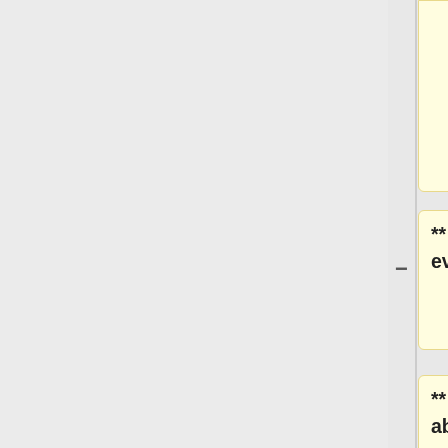o/edit#gid=201924588 CREX] monitor events spreadsheets.'''
** 6201 - Added 10k events to Weibin's cut
** '''6212 - Laser issues abound. Lots of BCM noise, and the Aq mean is >3 ppm. so this run may need to be put on the suspicious list. Otherwise it looks great. I don't know what the real problem is here. Ironically, once the beam noise hair goes away is when the charge